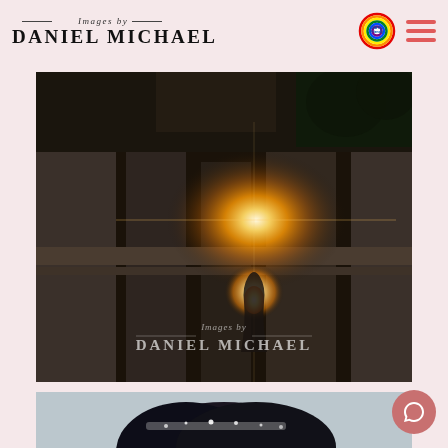Images by DANIEL MICHAEL — photography studio website header with LGBTQ+ Friendly badge and hamburger menu
[Figure (photo): Dark atmospheric wedding photo with golden lens flare and candlelight effect on a stone balustrade, with 'Images by DANIEL MICHAEL' watermark overlaid in script]
[Figure (photo): Close-up portrait photo of a person with dark hair and a sparkling headband/tiara, soft blue-grey background, partially visible at bottom of page]